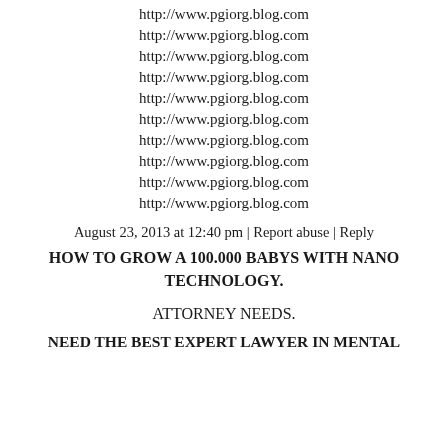http://www.pgiorg.blog.com
http://www.pgiorg.blog.com
http://www.pgiorg.blog.com
http://www.pgiorg.blog.com
http://www.pgiorg.blog.com
http://www.pgiorg.blog.com
http://www.pgiorg.blog.com
http://www.pgiorg.blog.com
http://www.pgiorg.blog.com
http://www.pgiorg.blog.com
August 23, 2013 at 12:40 pm | Report abuse | Reply
HOW TO GROW A 100.000 BABYS WITH NANO TECHNOLOGY.
ATTORNEY NEEDS.
NEED THE BEST EXPERT LAWYER IN MENTAL